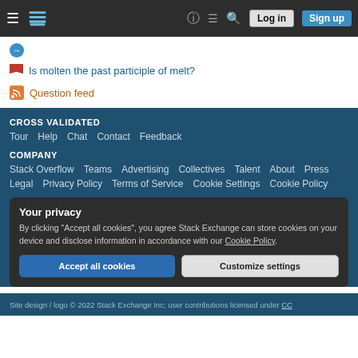≡ [Stack Exchange logo] ? ≡ 🔍 Log in Sign up
[truncated link]
Is molten the past participle of melt?
Question feed
CROSS VALIDATED
Tour   Help   Chat   Contact   Feedback
COMPANY
Stack Overflow   Teams   Advertising   Collectives   Talent   About   Press
Legal   Privacy Policy   Terms of Service   Cookie Settings   Cookie Policy
Your privacy
By clicking "Accept all cookies", you agree Stack Exchange can store cookies on your device and disclose information in accordance with our Cookie Policy.
Site design / logo © 2022 Stack Exchange Inc; user contributions licensed under CC